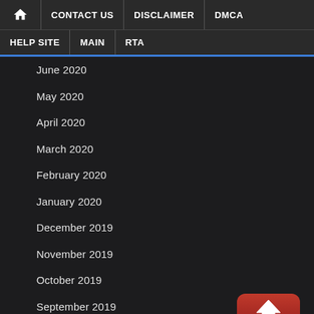🏠 CONTACT US DISCLAIMER DMCA HELP SITE MAIN RTA
June 2020
May 2020
April 2020
March 2020
February 2020
January 2020
December 2019
November 2019
October 2019
September 2019
August 2019
July 2019
June 2019